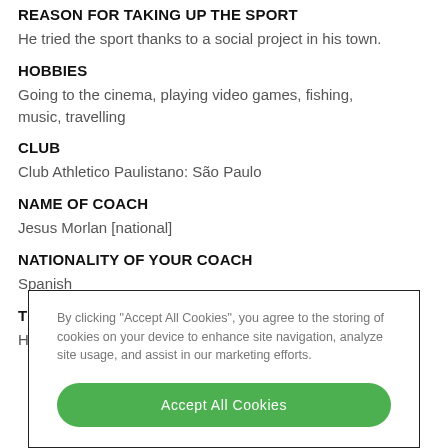REASON FOR TAKING UP THE SPORT
He tried the sport thanks to a social project in his town.
HOBBIES
Going to the cinema, playing video games, fishing, music, travelling
CLUB
Club Athletico Paulistano: São Paulo
NAME OF COACH
Jesus Morlan [national]
NATIONALITY OF YOUR COACH
Spanish
TRAINING REGIME
He trains from Monday to Saturday
By clicking "Accept All Cookies", you agree to the storing of cookies on your device to enhance site navigation, analyze site usage, and assist in our marketing efforts.